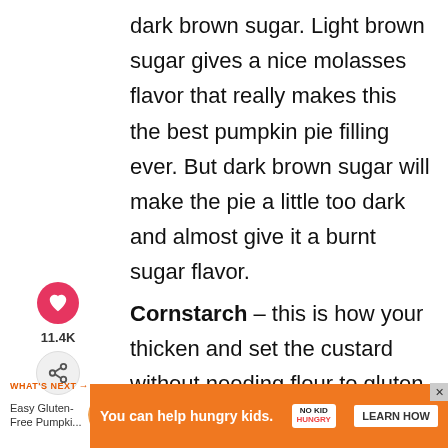dark brown sugar. Light brown sugar gives a nice molasses flavor that really makes this the best pumpkin pie filling ever. But dark brown sugar will make the pie a little too dark and almost give it a burnt sugar flavor.
Cornstarch – this is how your thicken and set the custard without needing flour to gluten free.
Salt
[Figure (infographic): Social media sidebar with heart/like button showing 11.4K likes and a share button]
[Figure (infographic): WHAT'S NEXT promo block: Easy Gluten-Free Pumpki... with circular pumpkin pie image]
[Figure (infographic): Orange advertisement banner: You can help hungry kids. NO KID HUNGRY logo. LEARN HOW button.]